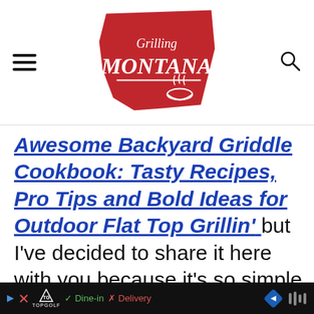[Figure (logo): Grilling Montana website logo - red shape of Montana state with white text 'Grilling MONTANA' and a bowl/steam icon]
Awesome Backyard Griddle Cookbook: Tasty Recipes, Pro Tips and Bold Ideas for Outdoor Flat Top Grillin'
but I've decided to share it here with you because it's so simple to make awfully delicious. If you love all things potato, check o...ipe.
Topgolf ad | Dine-in | Delivery